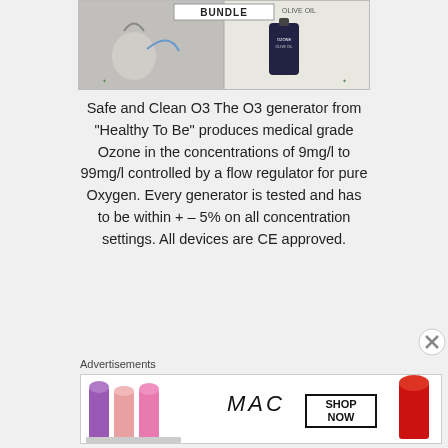[Figure (photo): Product bundle image showing an O3 generator device and a bottle of olive oil with 'BUNDLE' label at top]
Safe and Clean O3 The O3 generator from “Healthy To Be” produces medical grade Ozone in the concentrations of 9mg/l to 99mg/l controlled by a flow regulator for pure Oxygen. Every generator is tested and has to be within + – 5% on all concentration settings. All devices are CE approved.
Advertisements
[Figure (photo): MAC cosmetics advertisement banner showing lipsticks in purple, pink, and red colors with MAC logo and SHOP NOW button]